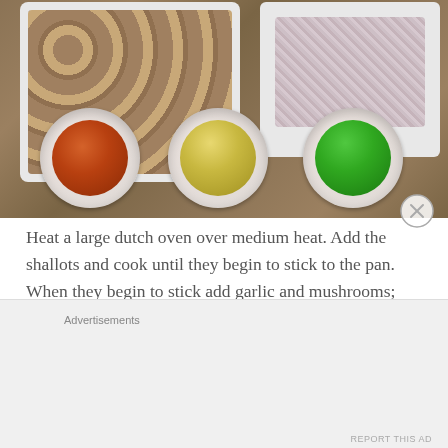[Figure (photo): Overhead view of cooking ingredients on a granite countertop: two white rectangular plates, one with sliced mixed mushrooms and one with chopped shallots, and three small white round bowls containing red/brown sauce, minced garlic, and chopped green chives respectively.]
Heat a large dutch oven over medium heat. Add the shallots and cook until they begin to stick to the pan. When they begin to stick add garlic and mushrooms; stir. Stir frequently until mushrooms start to stick to the pan.
Advertisements